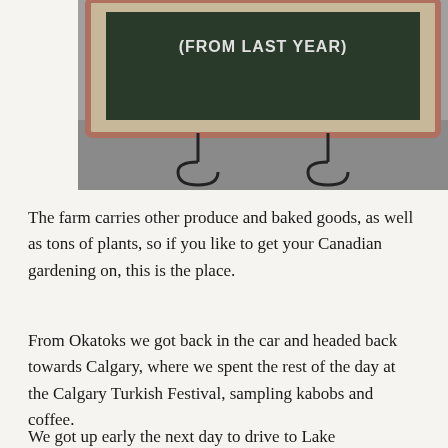[Figure (photo): A chalkboard sign with text '(FROM LAST YEAR)' mounted in a white wooden frame with decorative metal scroll stands, placed on a gray surface.]
The farm carries other produce and baked goods, as well as tons of plants, so if you like to get your Canadian gardening on, this is the place.
From Okatoks we got back in the car and headed back towards Calgary, where we spent the rest of the day at the Calgary Turkish Festival, sampling kabobs and coffee.
We got up early the next day to drive to Lake